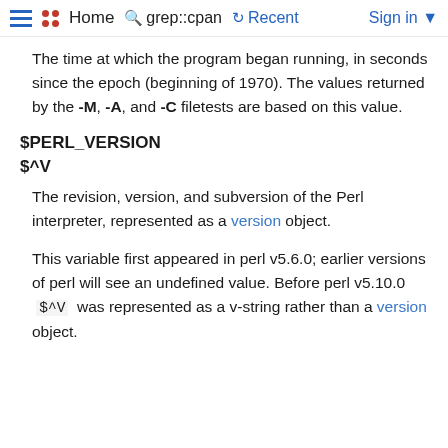≡ •• Home  🔍 grep::cpan  ↺ Recent  Sign in ▾
The time at which the program began running, in seconds since the epoch (beginning of 1970). The values returned by the -M, -A, and -C filetests are based on this value.
$PERL_VERSION
$^V
The revision, version, and subversion of the Perl interpreter, represented as a version object.
This variable first appeared in perl v5.6.0; earlier versions of perl will see an undefined value. Before perl v5.10.0  $^V  was represented as a v-string rather than a version object.